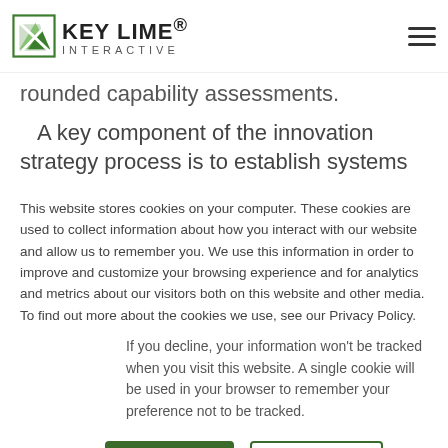[Figure (logo): Key Lime Interactive logo with green arrow/leaf icon and company name]
rounded capability assessments.
A key component of the innovation strategy process is to establish systems and processes. As user researchers apart from Key Lime, we have precedents in the control and understanding of how to
[Figure (illustration): Twitter share button icon (blue background with white bird icon)]
This website stores cookies on your computer. These cookies are used to collect information about how you interact with our website and allow us to remember you. We use this information in order to improve and customize your browsing experience and for analytics and metrics about our visitors both on this website and other media. To find out more about the cookies we use, see our Privacy Policy.
If you decline, your information won't be tracked when you visit this website. A single cookie will be used in your browser to remember your preference not to be tracked.
Accept
Decline